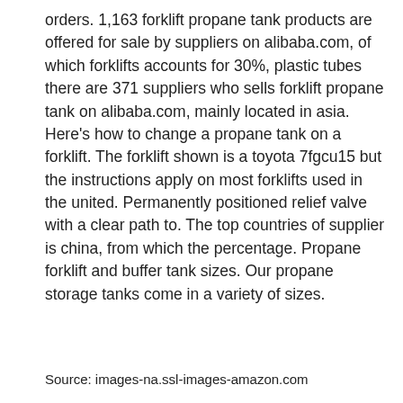orders. 1,163 forklift propane tank products are offered for sale by suppliers on alibaba.com, of which forklifts accounts for 30%, plastic tubes there are 371 suppliers who sells forklift propane tank on alibaba.com, mainly located in asia. Here's how to change a propane tank on a forklift. The forklift shown is a toyota 7fgcu15 but the instructions apply on most forklifts used in the united. Permanently positioned relief valve with a clear path to. The top countries of supplier is china, from which the percentage. Propane forklift and buffer tank sizes. Our propane storage tanks come in a variety of sizes.
Source: images-na.ssl-images-amazon.com